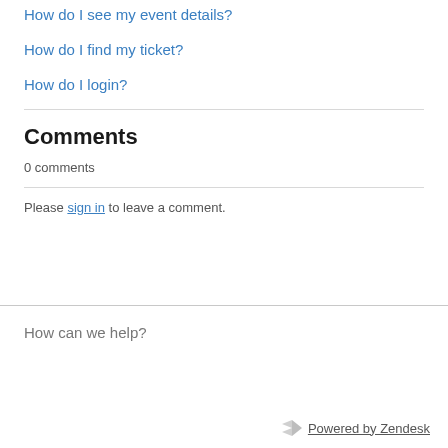How do I see my event details?
How do I find my ticket?
How do I login?
Comments
0 comments
Please sign in to leave a comment.
How can we help?
Powered by Zendesk